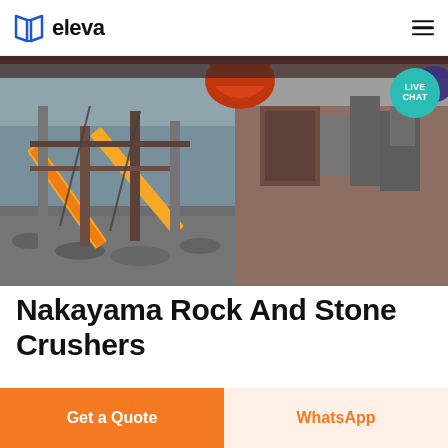eleva
[Figure (photo): Industrial rock crushing plant with conveyor belts, structural steel framework, and piles of crushed stone/gravel at a quarry site. Photo taken outdoors, showing heavy machinery and construction equipment.]
Nakayama Rock And Stone Crushers
Home >> Rock Crushing Plant stone
Get a Quote
WhatsApp